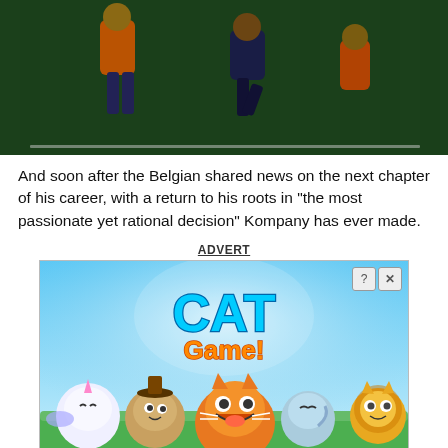[Figure (photo): Soccer/football players on a field, one player in orange vest tackling or interacting with another player in dark kit]
And soon after the Belgian shared news on the next chapter of his career, with a return to his roots in "the most passionate yet rational decision" Kompany has ever made.
ADVERT
[Figure (screenshot): Cat Game mobile game advertisement showing cartoon characters including a unicorn cat, cookie cat, orange cat, ghost cat, and lion cat with the title CAT Game!]
[Figure (infographic): Topgolf advertisement banner: Perfect activity for everyone, Topgolf]